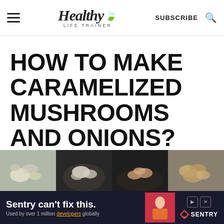Healthy Life Trainer — SUBSCRIBE
HOW TO MAKE CARAMELIZED MUSHROOMS AND ONIONS?
[Figure (photo): Four food photos showing caramelized mushrooms and onions preparation stages]
[Figure (illustration): Advertisement banner: Sentry can't fix this. Used by over 1 million developers globally. Sentry logo.]